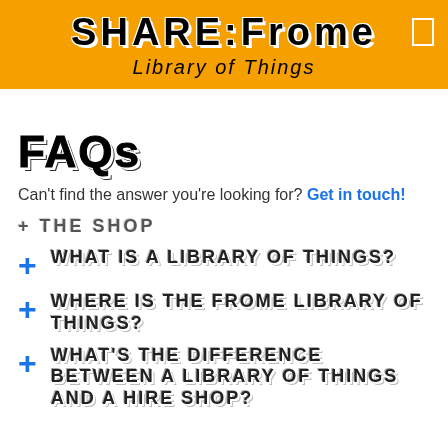SHARE:FROME Library of Things
FAQs
Can't find the answer you're looking for? Get in touch!
+ THE SHOP
+ WHAT IS A LIBRARY OF THINGS?
+ WHERE IS THE FROME LIBRARY OF THINGS?
+ WHAT'S THE DIFFERENCE BETWEEN A LIBRARY OF THINGS AND A HIRE SHOP?